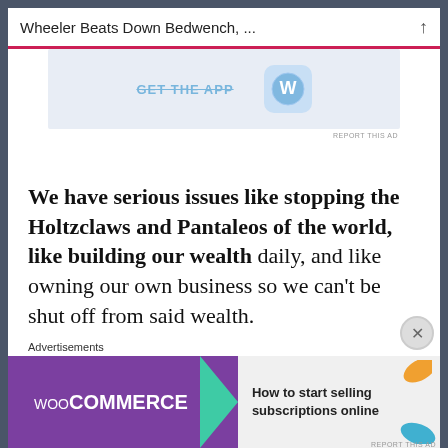Wheeler Beats Down Bedwench, ...
[Figure (screenshot): Advertisement banner with WordPress-style logo and text 'GET THE APP']
We have serious issues like stopping the Holtzclaws and Pantaleos of the world, like building our wealth daily, and like owning our own business so we can't be shut off from said wealth.
[Figure (screenshot): WooCommerce advertisement: 'How to start selling subscriptions online']